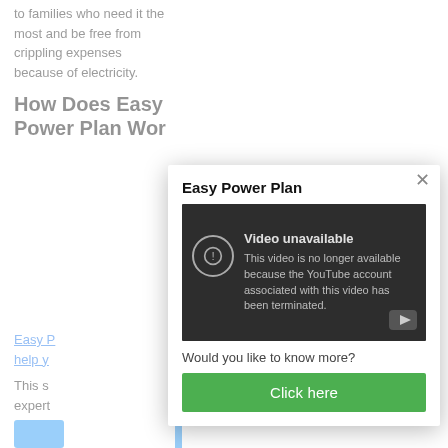to families who need it the most and be free from crippling expenses because of electricity.
How Does Easy Power Plan Wor
Easy P... help y... This s... expert...
[Figure (screenshot): Modal popup over a webpage. Title: 'Easy Power Plan'. Contains a YouTube video placeholder showing 'Video unavailable - This video is no longer available because the YouTube Account associated with this video has been terminated.' Below: 'Would you like to know more?' and a green 'Click here' button. Top-right has an X close button.]